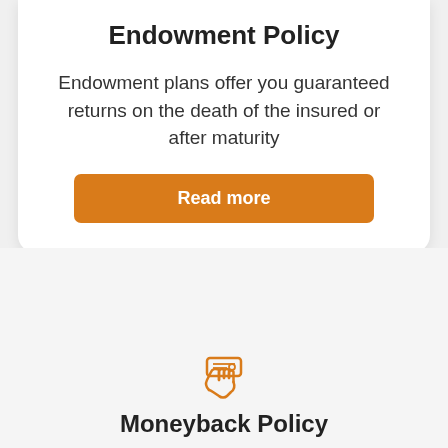Endowment Policy
Endowment plans offer you guaranteed returns on the death of the insured or after maturity
Read more
[Figure (illustration): Orange outline icon of a hand holding a card/money tray]
Moneyback Policy